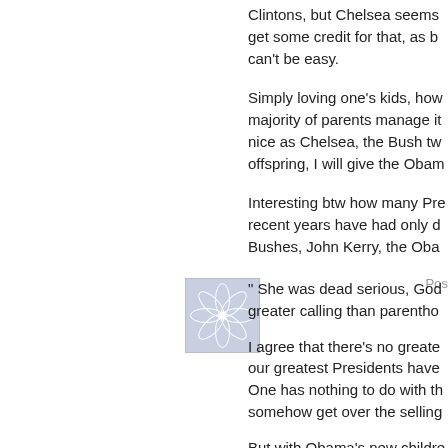Clintons, but Chelsea seems get some credit for that, as b can't be easy.
Simply loving one's kids, how majority of parents manage it nice as Chelsea, the Bush tw offspring, I will give the Obam
Interesting btw how many Pre recent years have had only d Bushes, John Kerry, the Oba
Pos
[Figure (illustration): Square decorative avatar image with a geometric snowflake/star pattern in blue and white]
" She was dead serious, God greater calling than parentho
I agree that there's no greate our greatest Presidents have One has nothing to do with th somehow get over the selling
But with Obama's new childre cover, I don't think we are hea